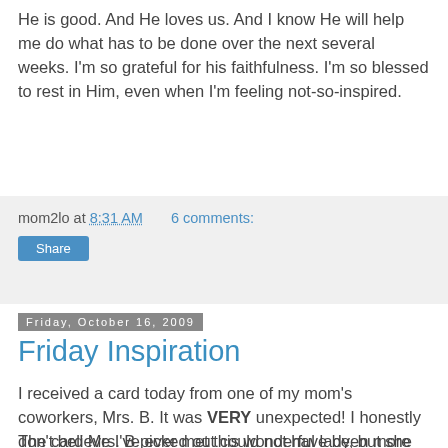He is good. And He loves us. And I know He will help me do what has to be done over the next several weeks. I'm so grateful for his faithfulness. I'm so blessed to rest in Him, even when I'm feeling not-so-inspired.
mom2lo at 8:31 AM    6 comments:
Share
Friday, October 16, 2009
Friday Inspiration
I received a card today from one of my mom's coworkers, Mrs. B. It was VERY unexpected! I honestly don't believe I've ever met this wonderful lady, but she knows of me and our situation with Chase through my mom. This sweet lady has been praying for our family and she doesn't even know us. This completely blows my mind. God is so good, and He uses people in ways we cannot even begin to understand.
The card Mrs. B picked out could not have been more